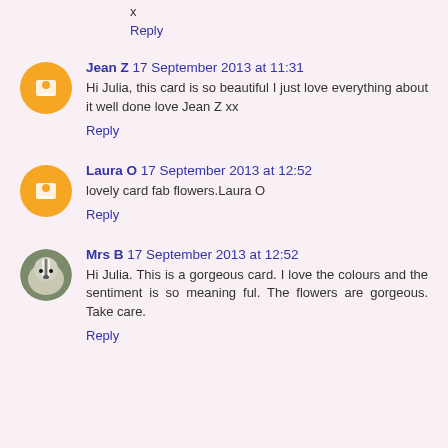x
Reply
Jean Z  17 September 2013 at 11:31
Hi Julia, this card is so beautiful I just love everything about it well done love Jean Z xx
Reply
Laura O  17 September 2013 at 12:52
lovely card fab flowers.Laura O
Reply
Mrs B  17 September 2013 at 12:52
Hi Julia. This is a gorgeous card. I love the colours and the sentiment is so meaning ful. The flowers are gorgeous. Take care.
Reply